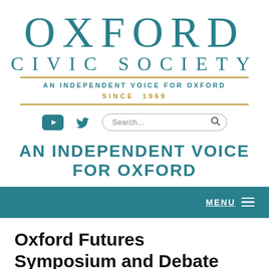OXFORD CIVIC SOCIETY
AN INDEPENDENT VOICE FOR OXFORD SINCE 1969
[Figure (screenshot): Navigation bar with YouTube icon, Twitter bird icon, and a search bar with 'Search...' placeholder and magnifier icon]
AN INDEPENDENT VOICE FOR OXFORD
MENU
Oxford Futures Symposium and Debate